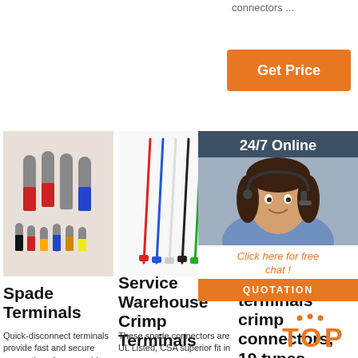connectors ...
Get Price
[Figure (photo): Spade/ferrule crimp terminals in various colors]
[Figure (photo): Colorful zip cable ties]
[Figure (photo): Black electrical tape roll]
24/7 Online
Click here for free chat !
QUOTATION
Spade Terminals
Service Warehouse Crimp Terminals
271 wire terminals crimp connectors, 19 types insulated
Quick-disconnect terminals provide fast and secure connections for your wiring. Because they are easy to connect
These spade connectors are UL Listed, CSA superior fit in
[Figure (logo): TOP logo in orange]